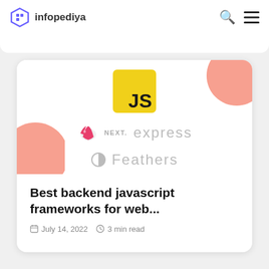infopediya
[Figure (screenshot): Website card showing JavaScript frameworks logos: JS badge (yellow), NestJS logo (red), Next.js label, Express logo text, Feathers logo text, with decorative salmon circle corners]
Best backend javascript frameworks for web...
July 14, 2022  3 min read